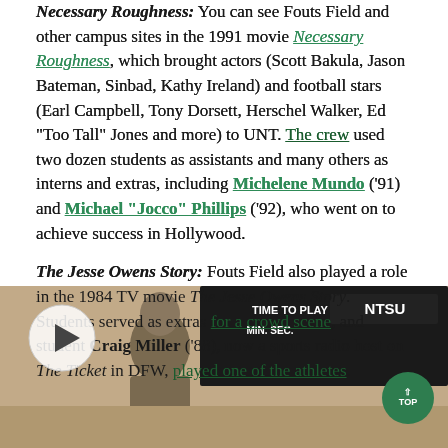Necessary Roughness: You can see Fouts Field and other campus sites in the 1991 movie Necessary Roughness, which brought actors (Scott Bakula, Jason Bateman, Sinbad, Kathy Ireland) and football stars (Earl Campbell, Tony Dorsett, Herschel Walker, Ed "Too Tall" Jones and more) to UNT. The crew used two dozen students as assistants and many others as interns and extras, including Michelene Mundo ('91) and Michael "Jocco" Phillips ('92), who went on to achieve success in Hollywood.
The Jesse Owens Story: Fouts Field also played a role in the 1984 TV movie The Jesse Owens Story. Students served as extras for a crowd scene, and student Craig Miller ('88), now a sports radio host on The Ticket in DFW, played one of the athletes.
[Figure (photo): Black and white photo of a person near a scoreboard reading 'TIME TO PLAY', 'MIN. SEC.', 'NTSU', with a play button overlay in the top left corner and a green 'TOP' button in the bottom right.]